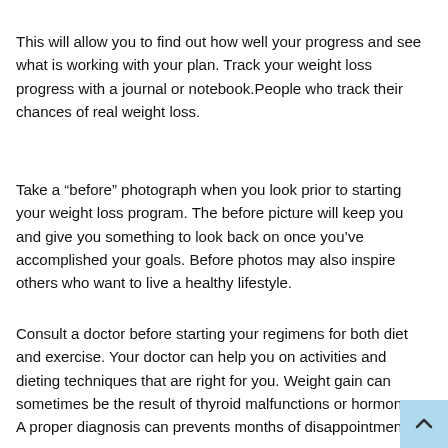This will allow you to find out how well your progress and see what is working with your plan. Track your weight loss progress with a journal or notebook.People who track their chances of real weight loss.
Take a “before” photograph when you look prior to starting your weight loss program. The before picture will keep you and give you something to look back on once you’ve accomplished your goals. Before photos may also inspire others who want to live a healthy lifestyle.
Consult a doctor before starting your regimens for both diet and exercise. Your doctor can help you on activities and dieting techniques that are right for you. Weight gain can sometimes be the result of thyroid malfunctions or hormones. A proper diagnosis can prevents months of disappointment.